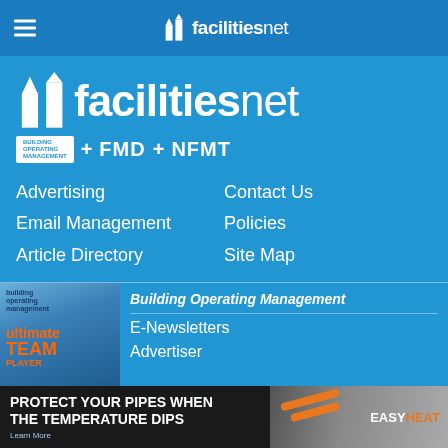facilitiesnet
[Figure (logo): facilitiesnet logo with building icon, large white text on blue background]
building operating management + FMD + NFMT
Advertising
Contact Us
Email Management
Policies
Article Directory
Site Map
[Figure (photo): Building Operating Management magazine cover showing worker with hard hat, text 'ultimate TEAM PLAYER']
Building Operating Management
E-Newsletters
Advertiser
[Figure (photo): FMD magazine cover with blue background and star pattern, text 'UPDATE']
Facility Maintenance Decisions
E-Newsletters
Advertiser
[Figure (photo): Advertisement banner: PROTECT YOUR PIPES WHEN THE TEMPERATURE DIPS - EasyHeat brand with pipe image]